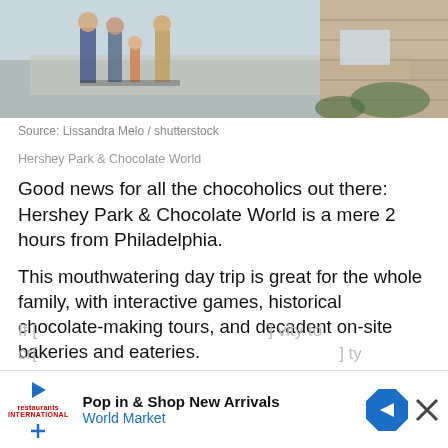[Figure (photo): Photo of people walking outside Hershey Park & Chocolate World, with brick building visible on the right]
Source: Lissandra Melo / shutterstock
Hershey Park & Chocolate World
Good news for all the chocoholics out there: Hershey Park & Chocolate World is a mere 2 hours from Philadelphia.
This mouthwatering day trip is great for the whole family, with interactive games, historical chocolate-making tours, and decadent on-site bakeries and eateries.
If [partial text visible] vity to cr [partial text visible] ty
[Figure (advertisement): Advertisement for World Market: Pop in & Shop New Arrivals, with navigation arrow icon and World Market logo]